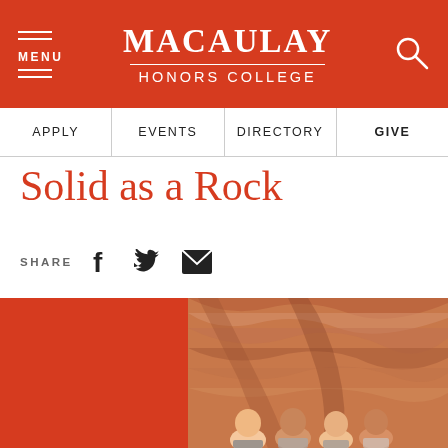MACAULAY HONORS COLLEGE
APPLY   EVENTS   DIRECTORY   GIVE
Solid as a Rock
SHARE
[Figure (photo): Photo of people (group of four smiling individuals) inside Antelope Canyon with red sandstone rock formations. Left portion of image area is solid red background.]